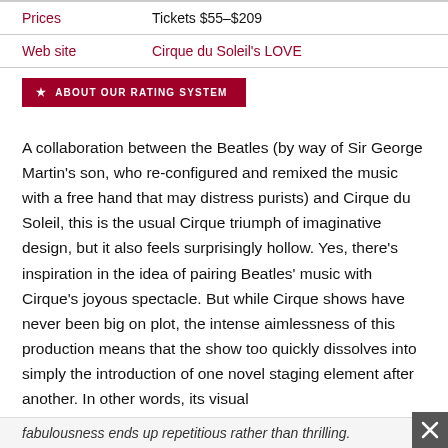| Prices | Tickets $55–$209 |
| Web site | Cirque du Soleil's LOVE |
ABOUT OUR RATING SYSTEM
A collaboration between the Beatles (by way of Sir George Martin’s son, who re-configured and remixed the music with a free hand that may distress purists) and Cirque du Soleil, this is the usual Cirque triumph of imaginative design, but it also feels surprisingly hollow. Yes, there’s inspiration in the idea of pairing Beatles’ music with Cirque’s joyous spectacle. But while Cirque shows have never been big on plot, the intense aimlessness of this production means that the show too quickly dissolves into simply the introduction of one novel staging element after another. In other words, its visual fabulousness ends up repetitious rather than thrilling.